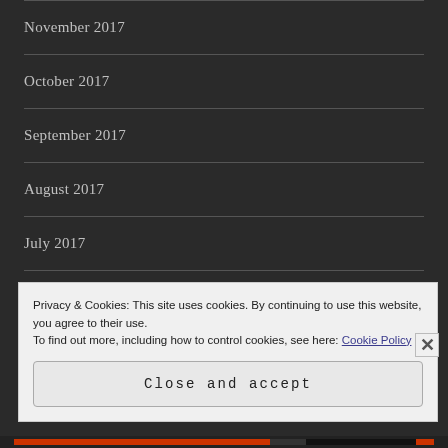November 2017
October 2017
September 2017
August 2017
July 2017
June 2017
May 2017
Privacy & Cookies: This site uses cookies. By continuing to use this website, you agree to their use.
To find out more, including how to control cookies, see here: Cookie Policy
Close and accept